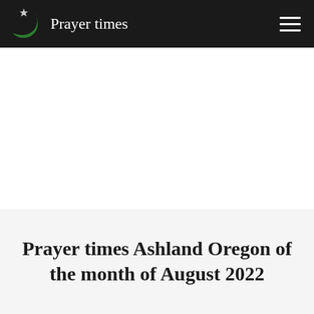Prayer times
Prayer times Ashland Oregon of the month of August 2022